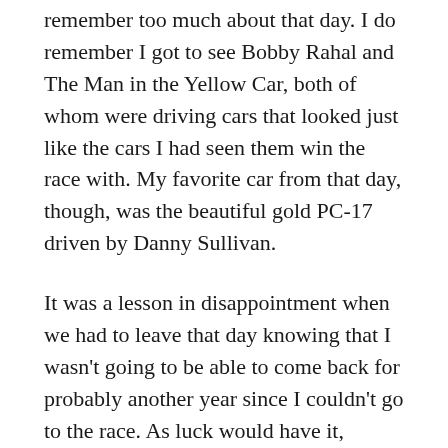remember too much about that day. I do remember I got to see Bobby Rahal and The Man in the Yellow Car, both of whom were driving cars that looked just like the cars I had seen them win the race with. My favorite car from that day, though, was the beautiful gold PC-17 driven by Danny Sullivan.
It was a lesson in disappointment when we had to leave that day knowing that I wasn't going to be able to come back for probably another year since I couldn't go to the race. As luck would have it, however, one of dad's race tickets freed up a few days later when the user found out she needed to attend a wedding on